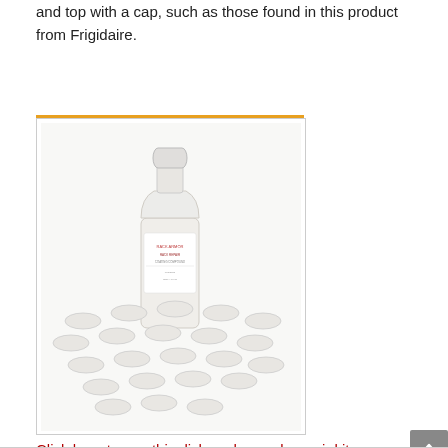and top with a cap, such as those found in this product from Frigidaire.
[Figure (photo): A dishwasher rack repair kit showing a bottle of rack repair coating liquid with a cap, surrounded by approximately 20 white plastic rack tip caps arranged on a white background.]
Click here to see this dishwasher rack repair kit on Amazon.